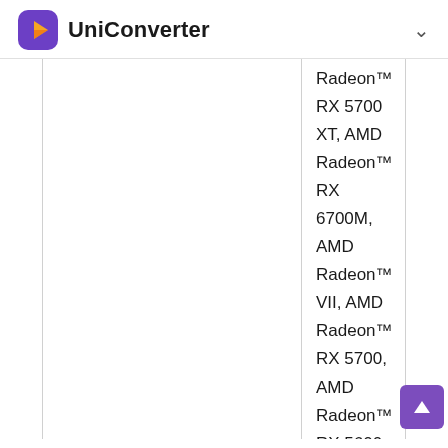UniConverter
Radeon™ RX 5700 XT, AMD Radeon™ RX 6700M, AMD Radeon™ VII, AMD Radeon™ RX 5700, AMD Radeon™ RX 5600 XT, AMD Radeon™ RX 5600, AMD Radeon™ RX 6600M, AMD Radeon™ RX 5700M, AMD Radeon™ RX 5500 XT, AMD Radeon™ RX 5600M, AMD Radeon™ RX 5500, Radeon™ RX Vega 64 Liquid Cooled, AMD Radeon™ RX 5500M, AMD Radeon™ RX 5300, AMD Radeon™ RX 5300M, Radeon™ RX Vega 64, Radeon™ RX Vega 56, Radeon™ RX 590, Radeon™ RX 590 GME, Radeon™ RX 580, Radeon™ RX 580 (OEM), Radeon™ RX 640, Radeon™ RX 590X, Radeon™ RX 590G